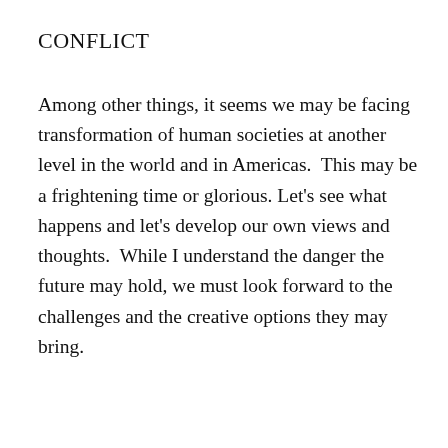CONFLICT
Among other things, it seems we may be facing transformation of human societies at another level in the world and in Americas.  This may be a frightening time or glorious. Let's see what happens and let's develop our own views and thoughts.  While I understand the danger the future may hold, we must look forward to the challenges and the creative options they may bring.